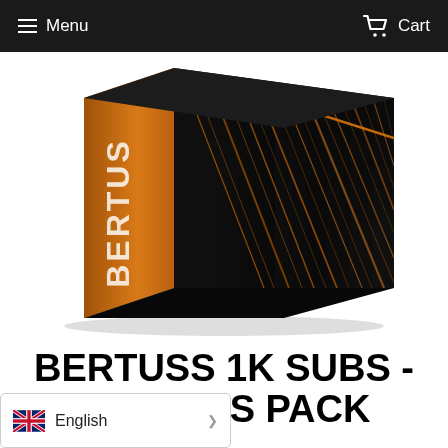Menu   Cart
[Figure (photo): 3D product box with orange and black design. The left face shows 'BERTUSS' text vertically in white on an orange background. The top/front face has a dark background with diagonal orange and gold streaking lines pattern.]
BERTUSS 1K SUBS - PRESETS PACK
English